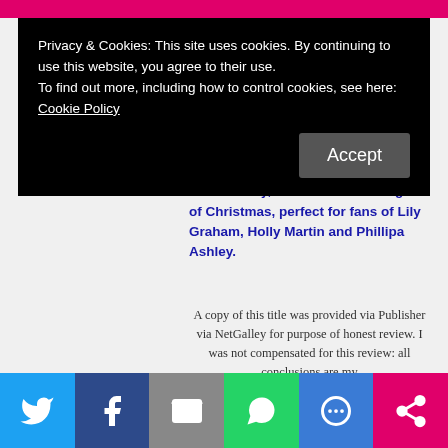Privacy & Cookies: This site uses cookies. By continuing to use this website, you agree to their use.
To find out more, including how to control cookies, see here:
Cookie Policy
Accept
Can Annie prevent her new family ruining the festivities and repair things with Josh in time for a cosy Christmas? Or will their relationship end up as frosty as the Salt Bay air?
Annie's Christmas by the Sea is a hilarious and heart-warming story about family, friends and the magic of Christmas, perfect for fans of Lily Graham, Holly Martin and Phillipa Ashley.
A copy of this title was provided via Publisher via NetGalley for purpose of honest review. I was not compensated for this review: all conclusions are my